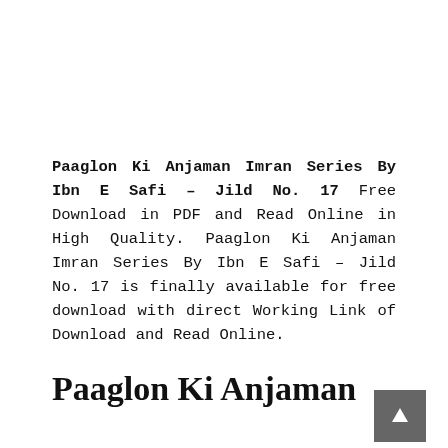Paaglon Ki Anjaman Imran Series By Ibn E Safi – Jild No. 17 Free Download in PDF and Read Online in High Quality. Paaglon Ki Anjaman Imran Series By Ibn E Safi – Jild No. 17 is finally available for free download with direct Working Link of Download and Read Online.
Paaglon Ki Anjaman Imran Series By Ibn E...